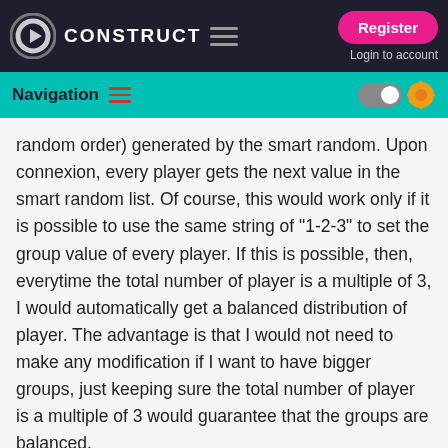CONSTRUCT — Navigation header with Register and Login to account buttons
random order) generated by the smart random. Upon connexion, every player gets the next value in the smart random list. Of course, this would work only if it is possible to use the same string of "1-2-3" to set the group value of every player. If this is possible, then, everytime the total number of player is a multiple of 3, I would automatically get a balanced distribution of player. The advantage is that I would not need to make any modification if I want to have bigger groups, just keeping sure the total number of player is a multiple of 3 would guarantee that the groups are balanced.
I don't know if this is more clear,